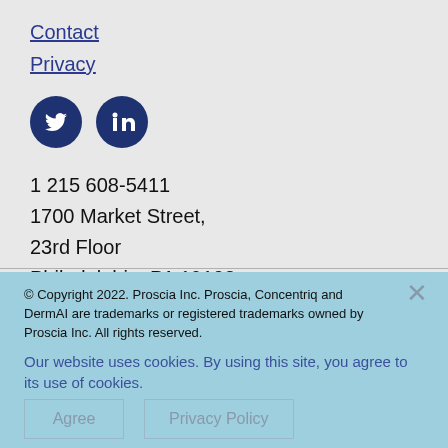Contact
Privacy
[Figure (illustration): Twitter and LinkedIn social media icons as white logos on dark navy circular backgrounds]
1 215 608-5411
1700 Market Street,
23rd Floor
Philadelphia, PA 19103
© Copyright 2022. Proscia Inc. Proscia, Concentriq and DermAI are trademarks or registered trademarks owned by Proscia Inc. All rights reserved.
Our website uses cookies. By using this site, you agree to its use of cookies.
Agree   Privacy Policy